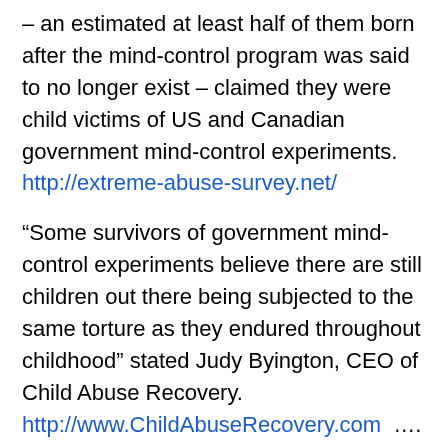– an estimated at least half of them born after the mind-control program was said to no longer exist – claimed they were child victims of US and Canadian government mind-control experiments. http://extreme-abuse-survey.net/
“Some survivors of government mind-control experiments believe there are still children out there being subjected to the same torture as they endured throughout childhood” stated Judy Byington, CEO of Child Abuse Recovery. http://www.ChildAbuseRecovery.com  ....
Human experimentation also was performed on native Canadian children in provincial hospitals. At least 50,000 of these indigent children are now missing. Kevin Annett of the International Tribunal into Crimes of Church and State (ITCCS http://www.itccs.org ) presented his investigation of this Canadian Child Holocaust in “Hidden No Longer.”